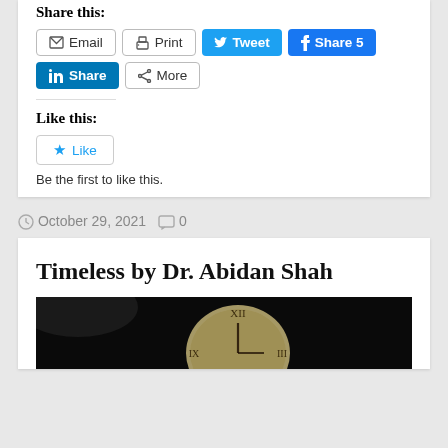Share this:
[Figure (screenshot): Social sharing buttons: Email, Print, Tweet, Share 5 (Facebook), LinkedIn Share, More]
Like this:
[Figure (screenshot): Like button widget]
Be the first to like this.
October 29, 2021    0
Timeless by Dr. Abidan Shah
[Figure (photo): Dark background with antique clock face showing Roman numerals]